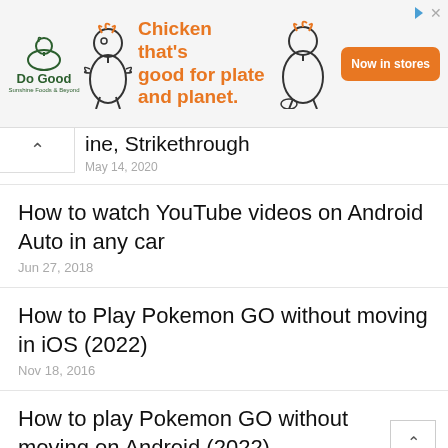[Figure (other): Advertisement banner: Do Good chicken brand ad with orange tagline 'Chicken that's good for plate and planet.' and orange 'Now in stores' button]
ine, Strikethrough
May 14, 2020
How to watch YouTube videos on Android Auto in any car
Jun 27, 2018
How to Play Pokemon GO without moving in iOS (2022)
Nov 18, 2016
How to play Pokemon GO without moving on Android (2022)
Nov 2, 2016